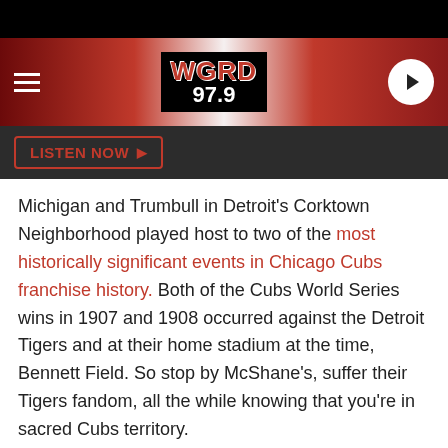WGRD 97.9 - navigation header with hamburger menu and play button
LISTEN NOW ▶
Michigan and Trumbull in Detroit's Corktown Neighborhood played host to two of the most historically significant events in Chicago Cubs franchise history. Both of the Cubs World Series wins in 1907 and 1908 occurred against the Detroit Tigers and at their home stadium at the time, Bennett Field. So stop by McShane's, suffer their Tigers fandom, all the while knowing that you're in sacred Cubs territory.
Google Maps Street View
BONUS: More Great Michigan Bar &